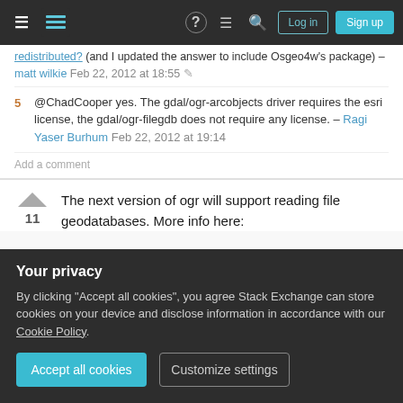Stack Exchange navigation bar with hamburger menu, logo, help, chat, search icons, Log in and Sign up buttons
redistributed? (and I updated the answer to include Osgeo4w's package) – matt wilkie Feb 22, 2012 at 18:55
5 @ChadCooper yes. The gdal/ogr-arcobjects driver requires the esri license, the gdal/ogr-filegdb does not require any license. – Ragi Yaser Burhum Feb 22, 2012 at 19:14
Add a comment
The next version of ogr will support reading file geodatabases. More info here:
11
Your privacy
By clicking "Accept all cookies", you agree Stack Exchange can store cookies on your device and disclose information in accordance with our Cookie Policy.
Accept all cookies
Customize settings